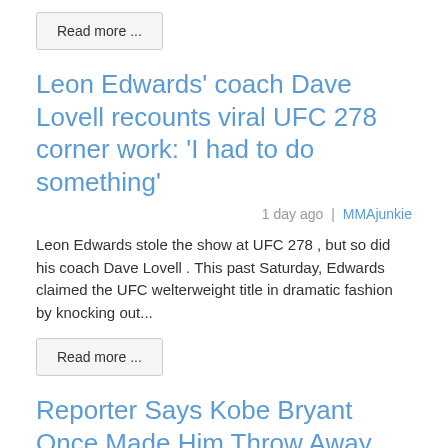Read more ...
Leon Edwards' coach Dave Lovell recounts viral UFC 278 corner work: 'I had to do something'
1 day ago | MMAjunkie
Leon Edwards stole the show at UFC 278 , but so did his coach Dave Lovell . This past Saturday, Edwards claimed the UFC welterweight title in dramatic fashion by knocking out...
Read more ...
Reporter Says Kobe Bryant Once Made Him Throw Away His Clothes For An Interview
1 day ago | The Huffington Post
[Figure (photo): Dark photo of a person, partially visible]